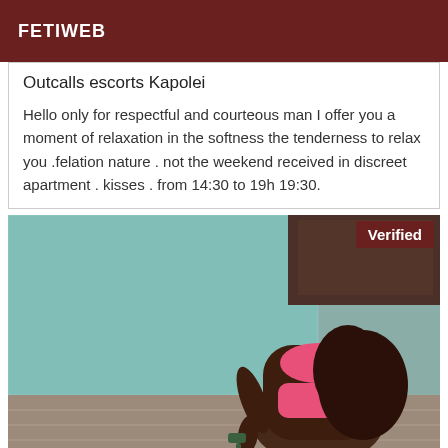FETIWEB
Outcalls escorts Kapolei
Hello only for respectful and courteous man I offer you a moment of relaxation in the softness the tenderness to relax you .felation nature . not the weekend received in discreet apartment . kisses . from 14:30 to 19h 19:30.
[Figure (photo): Woman posing outdoors near glass/tiled wall, wearing pink swimwear, with a 'Verified' badge in the top right corner.]